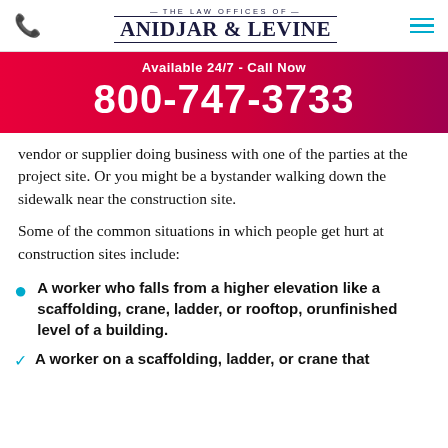THE LAW OFFICES OF ANIDJAR & LEVINE
Available 24/7 - Call Now
800-747-3733
vendor or supplier doing business with one of the parties at the project site. Or you might be a bystander walking down the sidewalk near the construction site.
Some of the common situations in which people get hurt at construction sites include:
A worker who falls from a higher elevation like a scaffolding, crane, ladder, or rooftop, orunfinished level of a building.
A worker on a scaffolding, ladder, or crane that collapses...